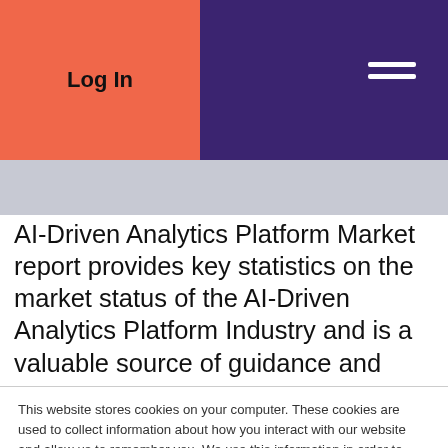Log In
AI-Driven Analytics Platform Market report provides key statistics on the market status of the AI-Driven Analytics Platform Industry and is a valuable source of guidance and
This website stores cookies on your computer. These cookies are used to collect information about how you interact with our website and allow us to remember you. We use this information in order to improve and customize your browsing experience and for analytics and metrics about our visitors both on this website and other media. To find out more about the cookies we use, see our Privacy Policy.
If you decline, your information won't be tracked when you visit this website. A single cookie will be used in your browser to remember your preference not to be tracked.